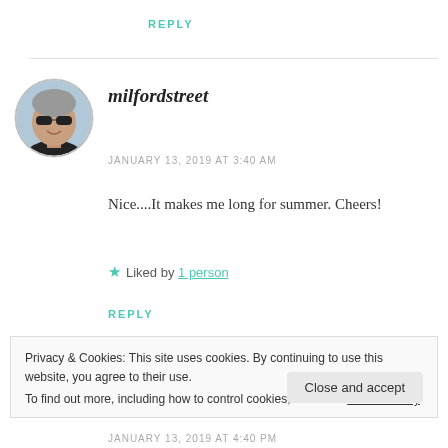REPLY
[Figure (photo): Circular avatar photo of a middle-aged man with gray hair and sunglasses, smiling, wearing a dark shirt.]
milfordstreet
JANUARY 13, 2019 AT 3:40 AM
Nice....It makes me long for summer. Cheers!
★ Liked by 1 person
REPLY
Privacy & Cookies: This site uses cookies. By continuing to use this website, you agree to their use.
To find out more, including how to control cookies, see here: Cookie Policy
Close and accept
JANUARY 13, 2019 AT 4:40 PM